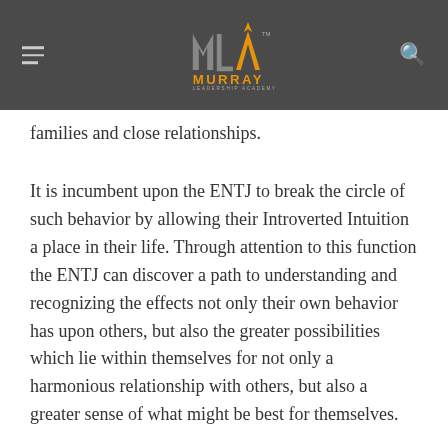Murray Leadership Academy
families and close relationships.
It is incumbent upon the ENTJ to break the circle of such behavior by allowing their Introverted Intuition a place in their life. Through attention to this function the ENTJ can discover a path to understanding and recognizing the effects not only their own behavior has upon others, but also the greater possibilities which lie within themselves for not only a harmonious relationship with others, but also a greater sense of what might be best for themselves.